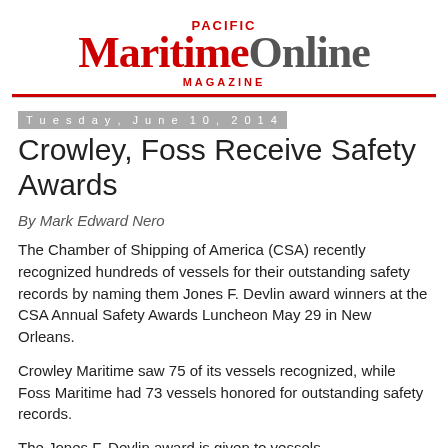PACIFIC MARITIME ONLINE MAGAZINE
Tuesday, June 10, 2014
Crowley, Foss Receive Safety Awards
By Mark Edward Nero
The Chamber of Shipping of America (CSA) recently recognized hundreds of vessels for their outstanding safety records by naming them Jones F. Devlin award winners at the CSA Annual Safety Awards Luncheon May 29 in New Orleans.
Crowley Maritime saw 75 of its vessels recognized, while Foss Maritime had 73 vessels honored for outstanding safety records.
The Jones F. Devlin award is given to vessels...